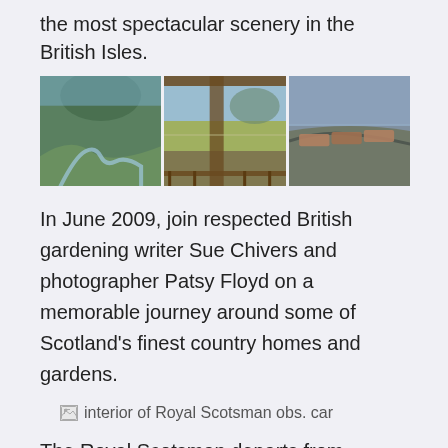the most spectacular scenery in the British Isles.
[Figure (photo): Three landscape photos side by side: left shows a winding river and hills, center shows a train observation car interior with view of moorland and lake, right shows a train curving along a hillside track.]
In June 2009, join respected British gardening writer Sue Chivers and photographer Patsy Floyd on a memorable journey around some of Scotland’s finest country homes and gardens.
[Figure (photo): Broken image placeholder labeled: interior of Royal Scotsman obs. car]
The Royal Scotsman departs from Edinburgh on June 5, and meanders north across the Forth Railway Bridge to Montrose and Edzell Castle. From there the train heads up the east coast to